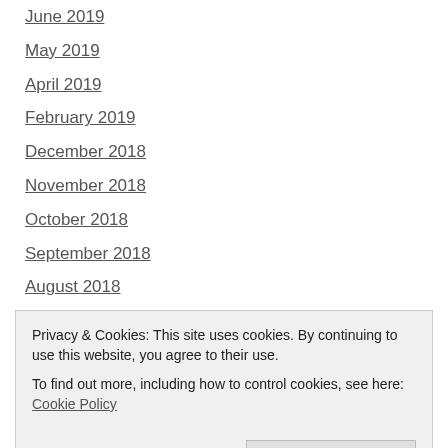June 2019
May 2019
April 2019
February 2019
December 2018
November 2018
October 2018
September 2018
August 2018
July 2018
June 2018
May 2018
April 2018 (partially visible)
Privacy & Cookies: This site uses cookies. By continuing to use this website, you agree to their use.
To find out more, including how to control cookies, see here: Cookie Policy
October 2017